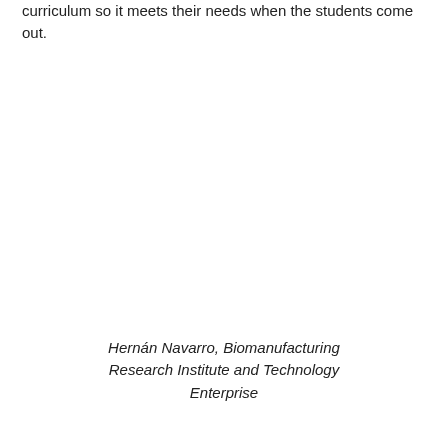curriculum so it meets their needs when the students come out.
Hernán Navarro, Biomanufacturing Research Institute and Technology Enterprise